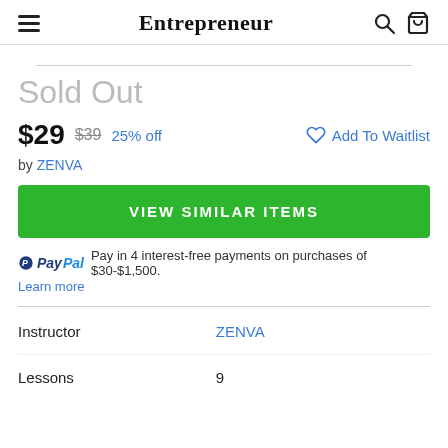Entrepreneur
Sold Out
$29  $39  25% off    ♡ Add To Waitlist
by ZENVA
VIEW SIMILAR ITEMS
PayPal  Pay in 4 interest-free payments on purchases of $30-$1,500. Learn more
|  |  |
| --- | --- |
| Instructor | ZENVA |
| Lessons | 9 |